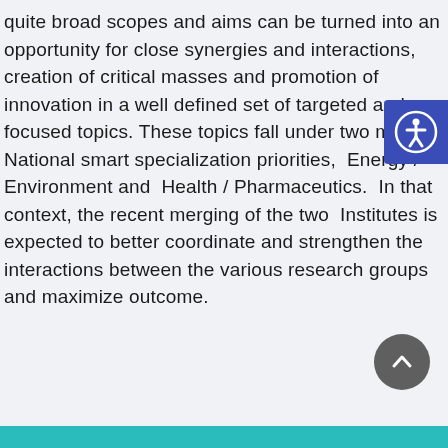quite broad scopes and aims can be turned into an opportunity for close synergies and interactions, creation of critical masses and promotion of innovation in a well defined set of targeted and focused topics. These topics fall under two main National smart specialization priorities, Energy / Environment and Health / Pharmaceutics. In that context, the recent merging of the two Institutes is expected to better coordinate and strengthen the interactions between the various research groups and maximize outcome.
[Figure (other): Accessibility icon button - circular person figure with arms and legs extended in a circle, white icon on blue/navy background square]
[Figure (other): Scroll to top button - dark grey circular button with white upward arrow]